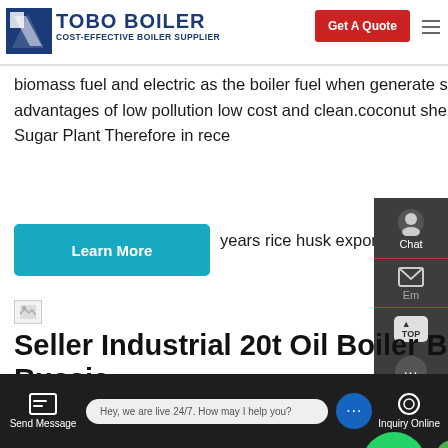[Figure (logo): TOBO BOILER logo with blue icon and text, subtitle COST-EFFECTIVE BOILER SUPPLIER, red Get A Quote button, hamburger menu]
biomass fuel and electric as the boiler fuel when generate steam as the advantages of low pollution low cost and clean.coconut shell second hand for Sugar Plant Therefore in rece years rice husk exported to
[Figure (other): Learn More cyan button]
[Figure (photo): Small broken image placeholder]
Seller Industrial 20t Oil Boiler Brand Russia
20t Coal Fired Conden oi gas heating industrial hot water boiler in belarus. Industrial Gas Oil Ga amp; Oil Kefid · As a
[Figure (other): WhatsApp floating button and Contact us now green button]
Send Message   Hey, we are live 24/7. How may I help you?   Inquiry Online